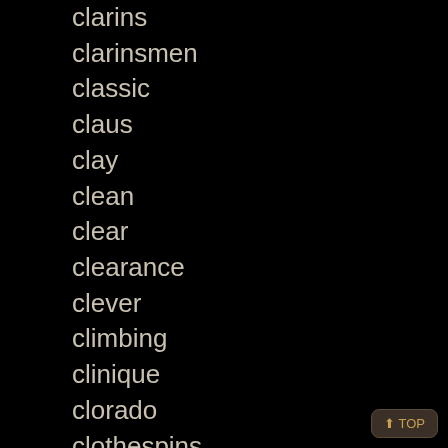clarins
clarinsmen
classic
claus
clay
clean
clear
clearance
clever
climbing
clinique
clorado
clothespins
club
cluster
coastal
coca